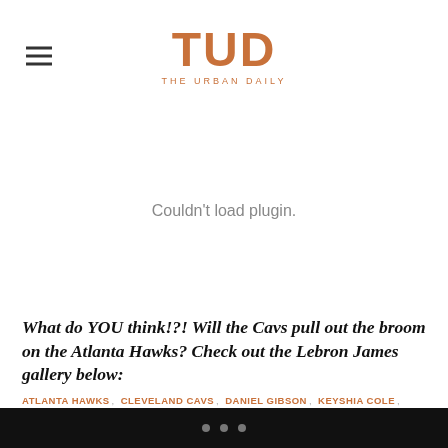TUD THE URBAN DAILY
[Figure (other): Couldn't load plugin. placeholder area]
What do YOU think!?! Will the Cavs pull out the broom on the Atlanta Hawks? Check out the Lebron James gallery below:
ATLANTA HAWKS , CLEVELAND CAVS , DANIEL GIBSON , KEYSHIA COLE , LEBRON JAMES , NBA PLAYOFFS
• • •